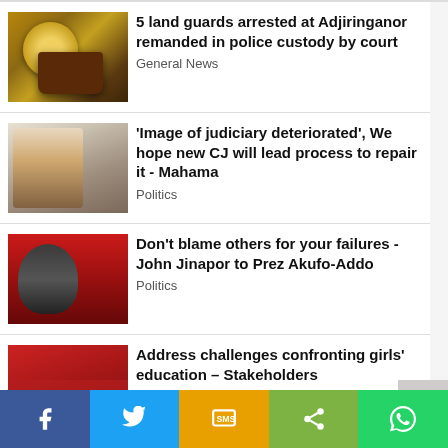[Figure (photo): Scales of justice and gavel photo]
5 land guards arrested at Adjiringanor remanded in police custody by court
General News
[Figure (photo): Man in traditional kente cloth speaking at event]
'Image of judiciary deteriorated', We hope new CJ will lead process to repair it - Mahama
Politics
[Figure (photo): Man in red beret and military gear]
Don't blame others for your failures - John Jinapor to Prez Akufo-Addo
Politics
[Figure (photo): Conference room with people seated at tables]
Address challenges confronting girls' education – Stakeholders
General News